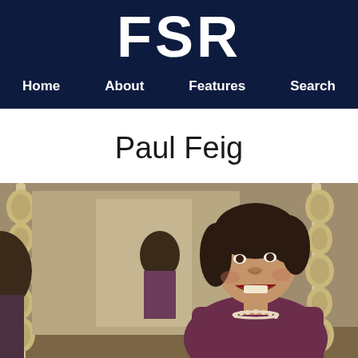FSR
Home  About  Features  Search
Paul Feig
[Figure (photo): A woman with dark hair wearing a pearl necklace and purple/maroon jacket, laughing or speaking expressively, photographed in front of ornate white mirrors with scrollwork decoration. Another person is visible in the mirror reflection in the background.]